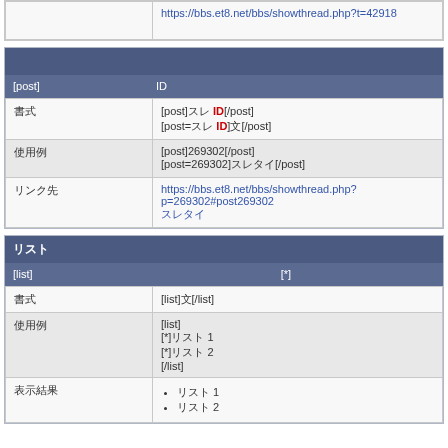| 　　　　　　　 | https://bbs.et8.net/bbs/showthread.php?t=42918
　　　　　 |
| 　　　　 |
| --- |
| [post] 　　　　　　　　　　 ID 　　　　　　　　　　　　　　　　　　 |  |
| 書式 | [post]スレ ID[/post]
[post=スレ ID]文[/post] |
| 使用例 | [post]269302[/post]
[post=269302]スレタイ[/post] |
| リンク先 | https://bbs.et8.net/bbs/showthread.php?p=269302#post269302
スレタイ |
| リスト |
| --- |
| [list] 　　　　　　　　　　　　　　　　　　　　　　 [*] 　　　 |  |
| 書式 | [list]文[/list] |
| 使用例 | [list]
[*]リスト 1
[*]リスト 2
[/list] |
| 表示結果 | • リスト 1
• リスト 2 |